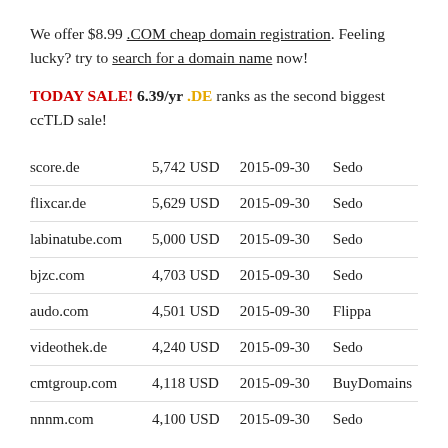We offer $8.99 .COM cheap domain registration. Feeling lucky? try to search for a domain name now!
TODAY SALE! 6.39/yr .DE ranks as the second biggest ccTLD sale!
| Domain | Price | Date | Source |
| --- | --- | --- | --- |
| score.de | 5,742 USD | 2015-09-30 | Sedo |
| flixcar.de | 5,629 USD | 2015-09-30 | Sedo |
| labinatube.com | 5,000 USD | 2015-09-30 | Sedo |
| bjzc.com | 4,703 USD | 2015-09-30 | Sedo |
| audo.com | 4,501 USD | 2015-09-30 | Flippa |
| videothek.de | 4,240 USD | 2015-09-30 | Sedo |
| cmtgroup.com | 4,118 USD | 2015-09-30 | BuyDomains |
| nnnm.com | 4,100 USD | 2015-09-30 | Sedo |